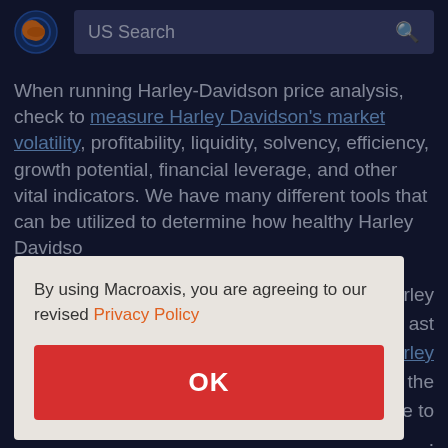US Search
When running Harley-Davidson price analysis, check to measure Harley Davidson's market volatility, profitability, liquidity, solvency, efficiency, growth potential, financial leverage, and other vital indicators. We have many different tools that can be utilized to determine how healthy Harley Davidson is...
By using Macroaxis, you are agreeing to our revised Privacy Policy
OK